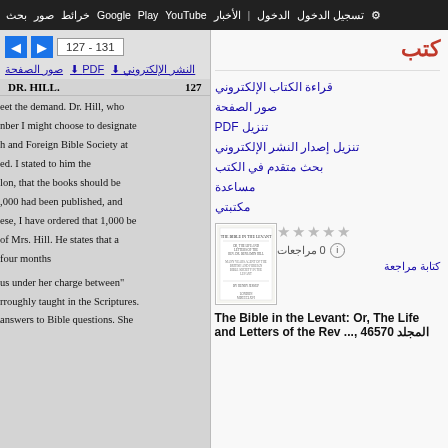بحث صور خرائط Google Play YouTube الأخبار تسجيل الدخول الإعدادات
كتب
127 - 131
صور الصفحة  PDF  النشر الإلكتروني
DR. HILL.  127
eet the demand. Dr. Hill, who nber I might choose to designate h and Foreign Bible Society at ed. I stated to him the lon, that the books should be ,000 had been published, and ese, I have ordered that 1,000 be of Mrs. Hill. He states that a four months
us under her charge between" rroughly taught in the Scriptures. answers to Bible questions. She
قراءة الكتاب الإلكتروني
صور الصفحة
تنزيل PDF
تنزيل إصدار النشر الإلكتروني
بحث متقدم في الكتب
مساعدة
مكتبتي
0 مراجعات
كتابة مراجعة
[Figure (illustration): Book cover thumbnail for The Bible in the Levant]
The Bible in the Levant: Or, The Life and Letters of the Rev ..., 46570 المجلد